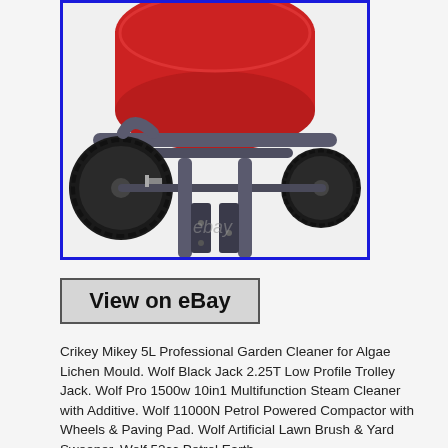[Figure (photo): Close-up photo of a red cement mixer or barrel on a dark grey tubular steel frame with two black rubber wheels and two vertical cylindrical tube stands. The image has a blue border and an eBay watermark.]
View on eBay
Crikey Mikey 5L Professional Garden Cleaner for Algae Lichen Mould. Wolf Black Jack 2.25T Low Profile Trolley Jack. Wolf Pro 1500w 10in1 Multifunction Steam Cleaner with Additive. Wolf 11000N Petrol Powered Compactor with Wheels & Paving Pad. Wolf Artificial Lawn Brush & Yard Sweeper. Wolf 52cc Petrol Earth